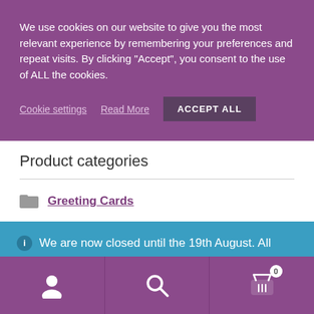We use cookies on our website to give you the most relevant experience by remembering your preferences and repeat visits. By clicking “Accept”, you consent to the use of ALL the cookies.
Cookie settings   Read More   ACCEPT ALL
Product categories
Greeting Cards
ⓘ We are now closed until the 19th August. All orders will processed from Monday 22nd.
Dismiss